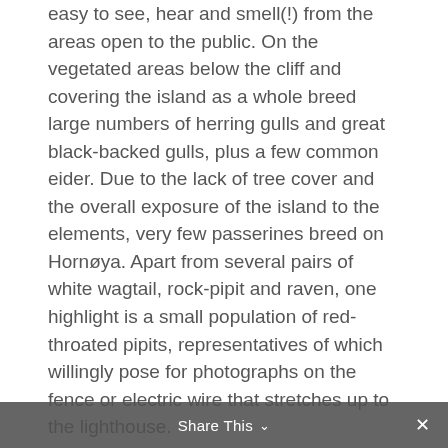easy to see, hear and smell(!) from the areas open to the public. On the vegetated areas below the cliff and covering the island as a whole breed large numbers of herring gulls and great black-backed gulls, plus a few common eider. Due to the lack of tree cover and the overall exposure of the island to the elements, very few passerines breed on Hornøya. Apart from several pairs of white wagtail, rock-pipit and raven, one highlight is a small population of red-throated pipits, representatives of which willingly pose for photographs on the fence or electric wire that stretches up to the lighthouse.
Other favourites are king eiders and Steller's eiders that are common in the late winter and of which a few stragglers are often seen throughout the summer in the bay on the
Share This ∨  ✕